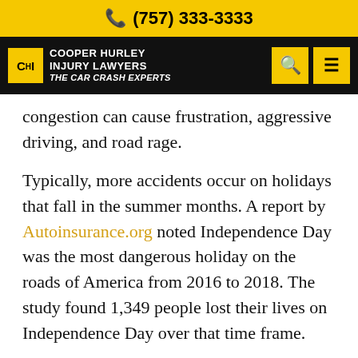(757) 333-3333
[Figure (logo): Cooper Hurley Injury Lawyers logo with yellow CHI box and tagline 'The Car Crash Experts' on black navigation bar with search and menu icons]
congestion can cause frustration, aggressive driving, and road rage.
Typically, more accidents occur on holidays that fall in the summer months. A report by Autoinsurance.org noted Independence Day was the most dangerous holiday on the roads of America from 2016 to 2018. The study found 1,349 people lost their lives on Independence Day over that time frame.
Memorial Day and Labor Day were respectively the